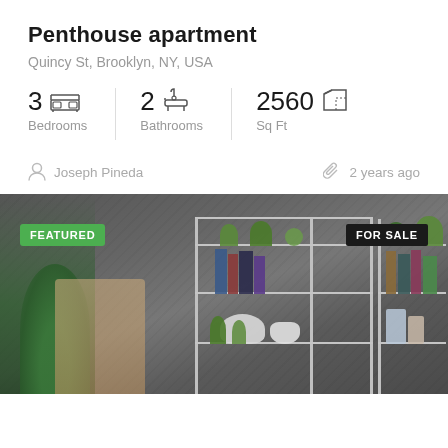Penthouse apartment
Quincy St, Brooklyn, NY, USA
3 Bedrooms  2 Bathrooms  2560 Sq Ft
Joseph Pineda  2 years ago
[Figure (photo): Interior photo of a modern apartment living room with grey concrete walls, white metal shelving units holding books, plants and decorative items, with green plants in foreground. Badges: FEATURED (green, top-left), FOR SALE (black, top-right).]